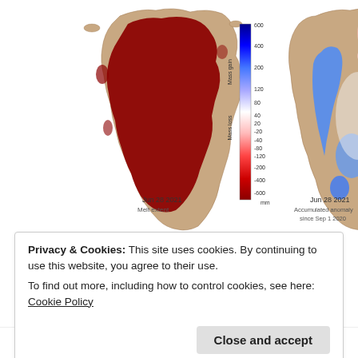[Figure (map): Two side-by-side maps of Greenland dated Jun 28 2021. Left map shows melt extent with dark red coloring covering most of Greenland's ice sheet perimeter and interior. Right map shows accumulated anomaly since Sep 1 2020 with a blue-red color scale ranging from -600 to 600 mm, labeled Mass loss to Mass gain. A vertical color bar legend is shown between the two maps.]
Privacy & Cookies: This site uses cookies. By continuing to use this website, you agree to their use.
To find out more, including how to control cookies, see here: Cookie Policy
[Figure (map): Partial bottom strip showing the lower portion of a third Greenland map with pink/red melt extent coloring.]